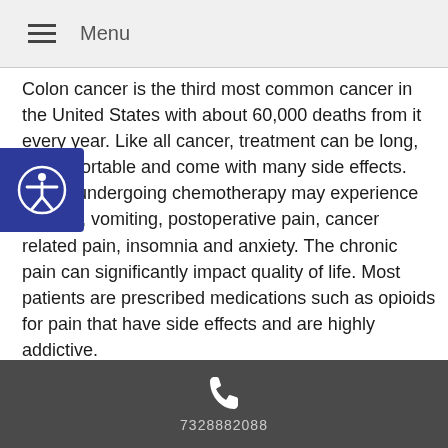Menu
Colon cancer is the third most common cancer in the United States with about 60,000 deaths from it every year. Like all cancer, treatment can be long, uncomfortable and come with many side effects. Those undergoing chemotherapy may experience nausea, vomiting, postoperative pain, cancer related pain, insomnia and anxiety. The chronic pain can significantly impact quality of life. Most patients are prescribed medications such as opioids for pain that have side effects and are highly addictive.
In Traditional Chinese Medicine it is believed that colon cancer comes from a number of underlying factors such as spleen yang deficiency, kidney yang deficiency, kidney yin deficiency and liver yin deficiency. Acupuncture works by addressing these deficiencies to return the body back to balance. Using specific points on the body related to
7328882088